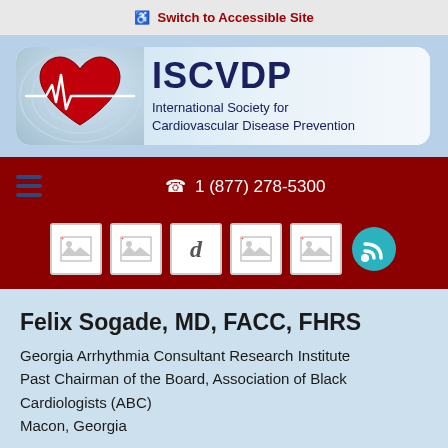Switch to Accessible Site
[Figure (logo): ISCVDP logo with red heart and ECG line graphic. Text: ISCVDP International Society for Cardiovascular Disease Prevention]
1 (877) 278-5300
[Figure (infographic): Social media icon bar with broken image icons, a 'd' letter icon, and an RSS feed icon]
Felix Sogade, MD, FACC, FHRS
Georgia Arrhythmia Consultant Research Institute
Past Chairman of the Board, Association of Black Cardiologists (ABC)
Macon, Georgia